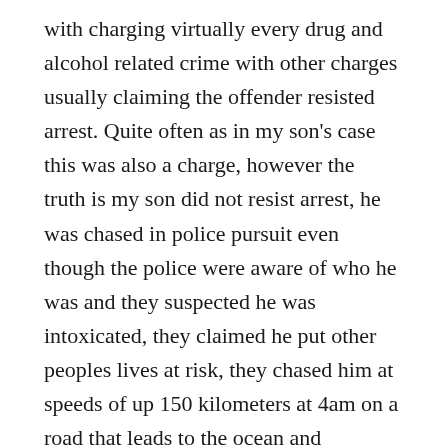with charging virtually every drug and alcohol related crime with other charges usually claiming the offender resisted arrest. Quite often as in my son's case this was also a charge, however the truth is my son did not resist arrest, he was chased in police pursuit even though the police were aware of who he was and they suspected he was intoxicated, they claimed he put other peoples lives at risk, they chased him at speeds of up 150 kilometers at 4am on a road that leads to the ocean and nowhere else, they chased his car and got so close he couldn't have braked or stopped if had wanted to in short they provoked and incited a car crash, it is nothing short of a miracle that he survived the crash. He